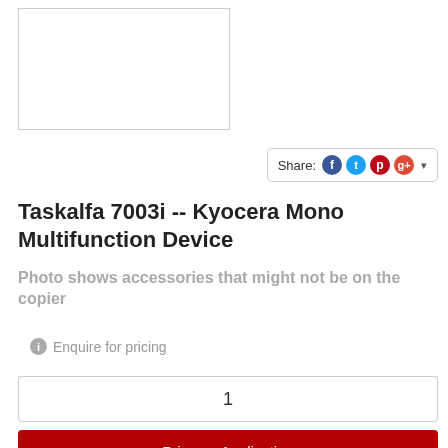[Figure (photo): Product image placeholder box (white rectangle with border)]
Share: [Facebook] [Twitter] [Pinterest] [Google+] ▾
Taskalfa 7003i -- Kyocera Mono Multifunction Device
Photo shows accessories that might not be on the copier
ℹ Enquire for pricing
1
Price on Application
Enquire about this product